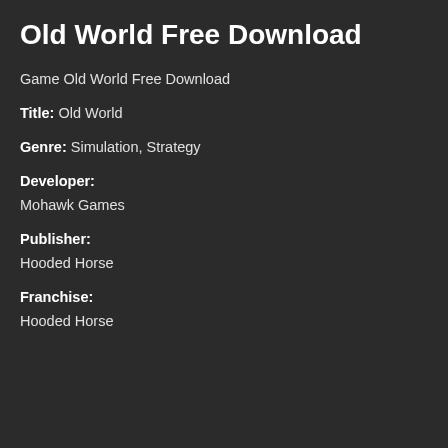Old World Free Download
Game Old World Free Download
Title: Old World
Genre: Simulation, Strategy
Developer:
Mohawk Games
Publisher:
Hooded Horse
Franchise:
Hooded Horse